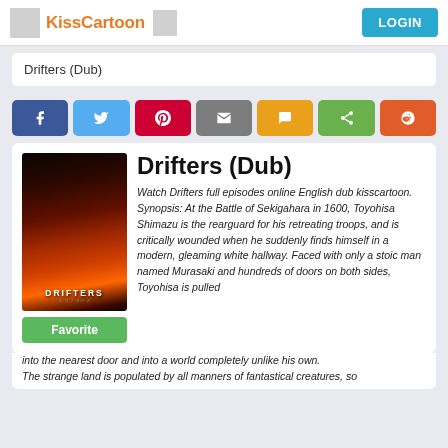KissCartoon | LOGIN
Drifters (Dub)
[Figure (screenshot): Social share buttons row: Facebook, Twitter, Pinterest, Email, SMS, Share, Reddit]
[Figure (illustration): Drifters anime cover art showing dark fantasy warrior characters with fire and text DRIFTERS]
Drifters (Dub)
Watch Drifters full episodes online English dub kisscartoon.
Synopsis: At the Battle of Sekigahara in 1600, Toyohisa Shimazu is the rearguard for his retreating troops, and is critically wounded when he suddenly finds himself in a modern, gleaming white hallway. Faced with only a stoic man named Murasaki and hundreds of doors on both sides, Toyohisa is pulled into the nearest door and into a world completely unlike his own.
The strange land is populated by all manners of fantastical creatures, as